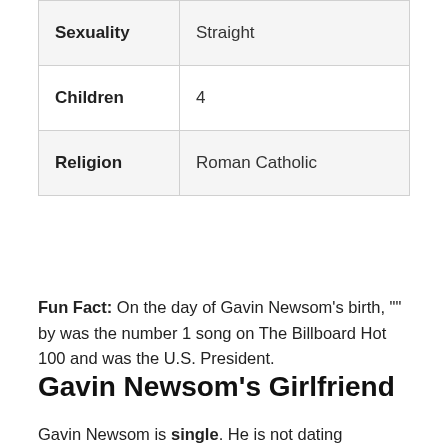| Sexuality | Straight |
| Children | 4 |
| Religion | Roman Catholic |
Fun Fact: On the day of Gavin Newsom's birth, "" by was the number 1 song on The Billboard Hot 100 and was the U.S. President.
Gavin Newsom's Girlfriend
Gavin Newsom is single. He is not dating